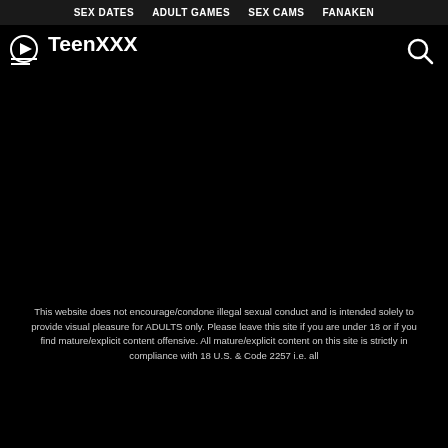SEX DATES   ADULT GAMES   SEX CAMS   FANAKEN
TeenXXX
[Figure (other): Large black content area placeholder]
This website does not encourage/condone illegal sexual conduct and is intended solely to provide visual pleasure for ADULTS only. Please leave this site if you are under 18 or if you find mature/explicit content offensive. All mature/explicit content on this site is strictly in compliance with 18 U.S. & Code 2257 i.e. all